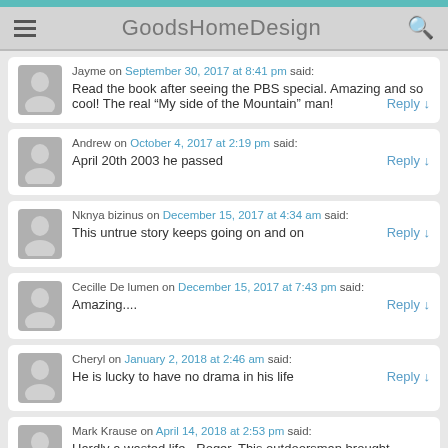GoodsHomeDesign
Jayme on September 30, 2017 at 8:41 pm said: Read the book after seeing the PBS special. Amazing and so cool! The real "My side of the Mountain" man! Reply
Andrew on October 4, 2017 at 2:19 pm said: April 20th 2003 he passed Reply
Nknya bizinus on December 15, 2017 at 4:34 am said: This untrue story keeps going on and on Reply
Cecille De lumen on December 15, 2017 at 7:43 pm said: Amazing.... Reply
Cheryl on January 2, 2018 at 2:46 am said: He is lucky to have no drama in his life Reply
Mark Krause on April 14, 2018 at 2:53 pm said: Hardly a wasted life...Roger. This outdoorsman brought beauty to thousands in a way they had never seen it before. The bars are full of people living out his dreams in a bar and he... Reply